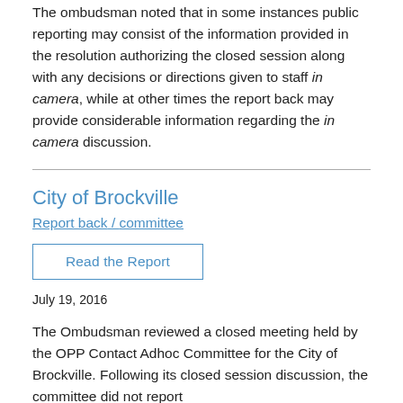The ombudsman noted that in some instances public reporting may consist of the information provided in the resolution authorizing the closed session along with any decisions or directions given to staff in camera, while at other times the report back may provide considerable information regarding the in camera discussion.
City of Brockville
Report back / committee
Read the Report
July 19, 2016
The Ombudsman reviewed a closed meeting held by the OPP Contact Adhoc Committee for the City of Brockville. Following its closed session discussion, the committee did not report